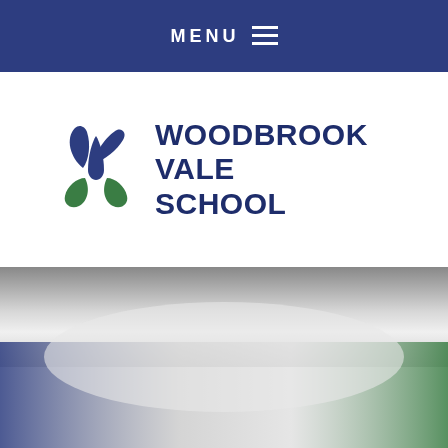MENU ☰
[Figure (logo): Woodbrook Vale School logo with stylized plant/leaf emblem in blue and green, alongside text WOODBROOK VALE SCHOOL in navy blue bold font]
[Figure (photo): Hero image with gradient background blending grey, blue, and green tones — appears to be an outdoor/landscape photo with gradient overlay]